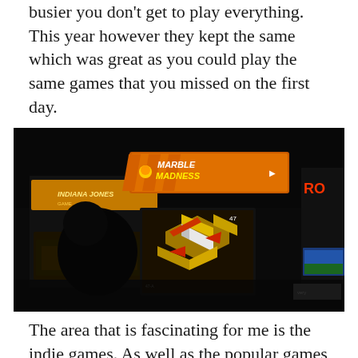busier you don't get to play everything. This year however they kept the same which was great as you could play the same games that you missed on the first day.
[Figure (photo): Dark photograph of an arcade gaming area showing illuminated arcade cabinet screens including 'Marble Madness' and 'Indiana Jones' arcade games in a dimly lit room.]
The area that is fascinating for me is the indie games. As well as the popular games such as Rocket League,